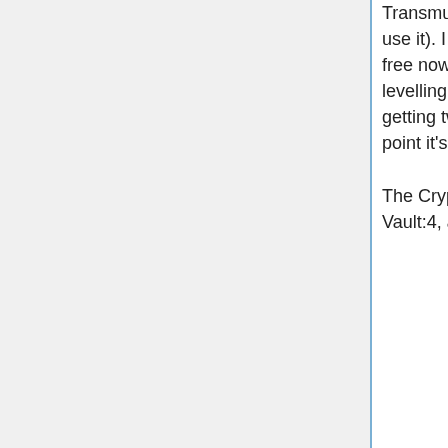Transmutations will train as I use it). I have five spell levels free now, and am close to levelling Spellcasting and getting two more, at which point it's Halloween. The Crypt stairs are on Vault:4, and with rN+++,